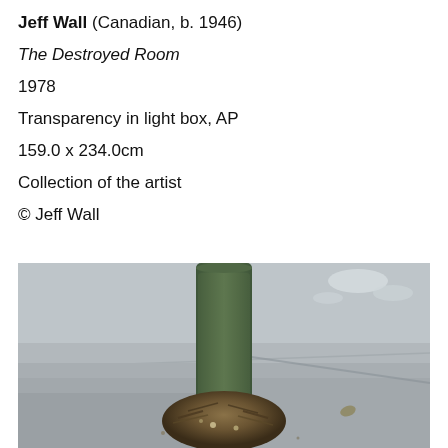Jeff Wall (Canadian, b. 1946)
The Destroyed Room
1978
Transparency in light box, AP
159.0 x 234.0cm
Collection of the artist
© Jeff Wall
[Figure (photo): Photograph showing the base of a moss-covered cylindrical post or bollard on pavement, with a pile of twigs and debris gathered at its base.]